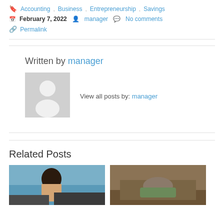Accounting, Business, Entrepreneurship, Savings
February 7, 2022   manager   No comments
Permalink
Written by manager
[Figure (photo): Generic user avatar placeholder (grey background with white silhouette of a person)]
View all posts by: manager
Related Posts
[Figure (photo): Woman smiling near a car outdoors]
[Figure (photo): Person resting head on arms on a surface, appears stressed or tired]